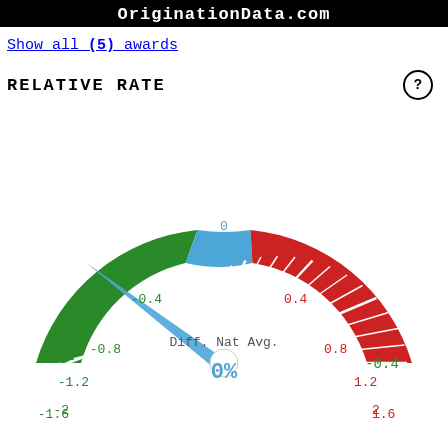OriginationData.com
Show all (5) awards
RELATIVE RATE
[Figure (other): A semicircular gauge/speedometer showing Relative Rate. The gauge has three colored zones: blue at the top center (from -0.4 to 0.4), green on the left (from -0.4 to -2), and red on the right (from 0.4 to 2). Tick marks are shown throughout. Labels on the green side: -0.4, -0.8, -1.2, -1.6, -2. Labels on the blue/top: 0. Labels on the red side: 0.4, 0.8, 1.2, 1.6, 2. A blue needle points to approximately -1.2 (upper left area). Center text reads 'Diff. Nat Avg.' and below it '0%' in large blue text.]